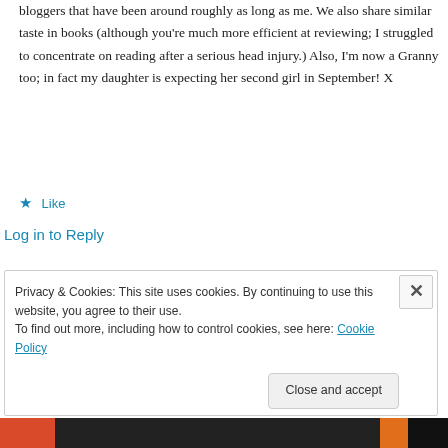bloggers that have been around roughly as long as me. We also share similar taste in books (although you're much more efficient at reviewing; I struggled to concentrate on reading after a serious head injury.) Also, I'm now a Granny too; in fact my daughter is expecting her second girl in September! X
★ Like
Log in to Reply
Privacy & Cookies: This site uses cookies. By continuing to use this website, you agree to their use.
To find out more, including how to control cookies, see here: Cookie Policy
Close and accept